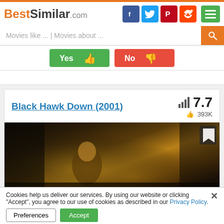BestSimilar.com
Movies like ... | Movies about ...
[Figure (screenshot): Yes and No vote buttons (green Yes thumbs-up, red No thumbs-down)]
Black Hawk Down (2001)
7.7  393K
[Figure (photo): Movie thumbnail image for Black Hawk Down (2001) showing a soldier in dark cinematic lighting]
Cookies help us deliver our services. By using our website or clicking "Accept", you agree to our use of cookies as described in our Privacy Policy.
Preferences  Accept